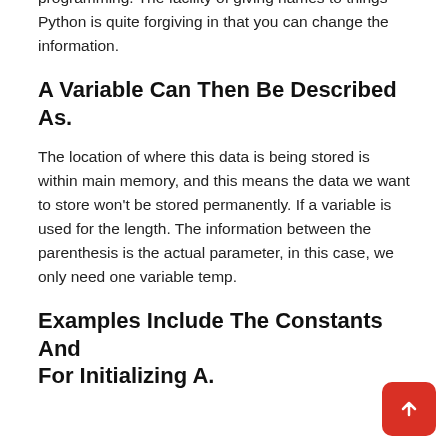Simple program for function overloading using c++ programming. The facility of giving names to things Python is quite forgiving in that you can change the information.
A Variable Can Then Be Described As.
The location of where this data is being stored is within main memory, and this means the data we want to store won't be stored permanently. If a variable is used for the length. The information between the parenthesis is the actual parameter, in this case, we only need one variable temp.
Examples Include The Constants And For Initializing A.